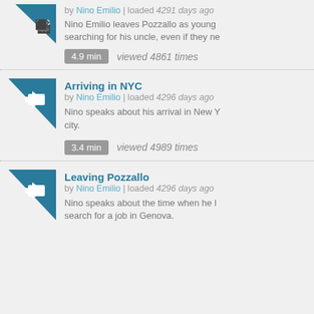by Nino Emilio | loaded 4291 days ago
Nino Emilio leaves Pozzallo as young searching for his uncle, even if they ne
4.9 min   viewed 4861 times
Arriving in NYC
by Nino Emilio | loaded 4296 days ago
Nino speaks about his arrival in New Y city.
3.4 min   viewed 4989 times
Leaving Pozzallo
by Nino Emilio | loaded 4296 days ago
Nino speaks about the time when he l search for a job in Genova.